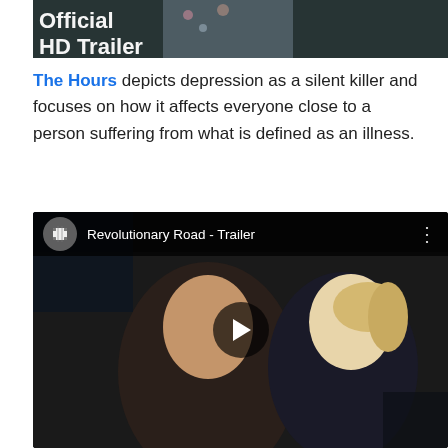[Figure (screenshot): Top portion of a YouTube-style video thumbnail showing text 'Official HD Trailer' overlaid on a scene with a person in a floral dress, dark background]
The Hours depicts depression as a silent killer and focuses on how it affects everyone close to a person suffering from what is defined as an illness.
[Figure (screenshot): YouTube video embed for 'Revolutionary Road - Trailer' showing a man and woman in an intimate scene, with play button overlay and video title bar at top]